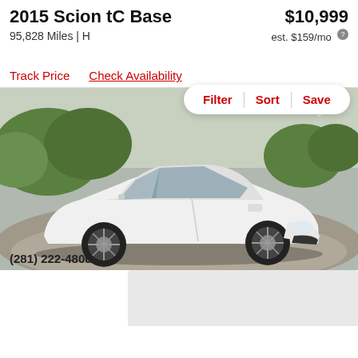2015 Scion tC Base
$10,999
95,828 Miles | H
est. $159/mo
Filter  Sort  Save
Track Price   Check Availability
[Figure (photo): White 2015 Scion tC Base coupe parked on a circular driveway with green trees in the background]
(281) 222-4800